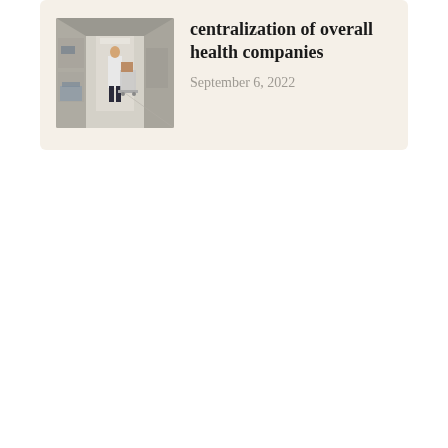[Figure (photo): Hospital corridor with a healthcare worker in a white coat pushing equipment down a hallway]
centralization of overall health companies
September 6, 2022